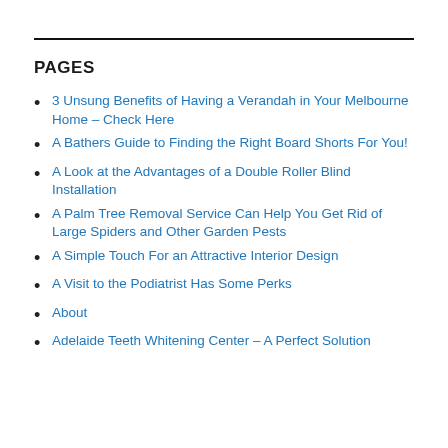PAGES
3 Unsung Benefits of Having a Verandah in Your Melbourne Home – Check Here
A Bathers Guide to Finding the Right Board Shorts For You!
A Look at the Advantages of a Double Roller Blind Installation
A Palm Tree Removal Service Can Help You Get Rid of Large Spiders and Other Garden Pests
A Simple Touch For an Attractive Interior Design
A Visit to the Podiatrist Has Some Perks
About
Adelaide Teeth Whitening Center – A Perfect Solution